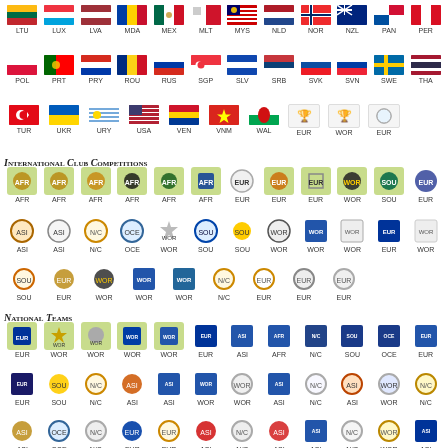[Figure (infographic): Grid of country flag icons with 3-letter codes: LTU, LUX, LVA, MDA, MEX, MLT, MYS, NLD, NOR, NZL, PAN, PER]
[Figure (infographic): Grid of country flag icons: POL, PRT, PRY, ROU, RUS, SGP, SLV, SRB, SVK, SVN, SWE, THA]
[Figure (infographic): Grid of country flag icons: TUR, UKR, URY, USA, VEN, VNM, WAL, EUR, WOR, EUR]
International Club Competitions
[Figure (infographic): Row 1 international club competition icons: AFR, AFR, AFR, AFR, AFR, AFR, EUR, EUR, EUR, WOR, SOU, EUR (green and plain backgrounds)]
[Figure (infographic): Row 2 club competition icons: ASI, ASI, N/C, OCE, WOR, SOU, SOU, WOR, WOR, WOR, EUR, WOR]
[Figure (infographic): Row 3 club competition icons: SOU, EUR, WOR, WOR, WOR, N/C, EUR, EUR, EUR]
National Teams
[Figure (infographic): Row 1 national team icons: EUR, WOR, WOR, WOR, WOR, EUR, ASI, AFR, N/C, SOU, OCE, EUR (mix green and blue backgrounds)]
[Figure (infographic): Row 2 national team icons: EUR, SOU, N/C, ASI, ASI, WOR, WOR, ASI, N/C, ASI, WOR, N/C]
[Figure (infographic): Row 3 national team icons: ASI, OCE, N/C, EUR, EUR, ASI, N/C, ASI, ASI, N/C, WOR, ASI]